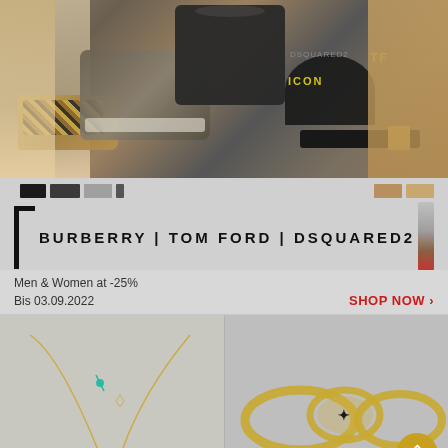[Figure (photo): Fashion collage showing Burberry sandals/slides, Tom Ford sneakers, Tom Ford black handbag with TF logo, Dsquared2 black cap with ICON text, Tom Ford black leather belt with gold buckle, woman in beige coat and woman in camel coat]
[Figure (photo): Color swatches (black, grey, beige/tan, tan, brown) and brand logos display area showing BURBERRY | TOM FORD | DSQUARED2 text with left bracket design and lipstick/cosmetic accent on right]
Men & Women at -25%
Bis 03.09.2022
SHOP NOW >
[Figure (photo): Gold delicate necklace with turquoise/teal accent detail on light grey background]
[Figure (photo): Gold bracelets and oval bangle with star detail on grey background, with circular gold scroll-up button in bottom right corner]